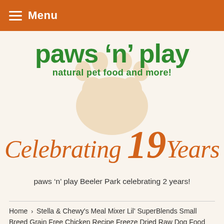Menu
[Figure (logo): Paws 'n' Play logo with paw print watermark, green text reading 'paws \u2018n\u2019 play' and subtitle 'natural pet food and more!']
Celebrating 19 Years
paws 'n' play Beeler Park celebrating 2 years!
Home › Stella & Chewy's Meal Mixer Lil' SuperBlends Small Breed Grain Free Chicken Recipe Freeze Dried Raw Dog Food Topper